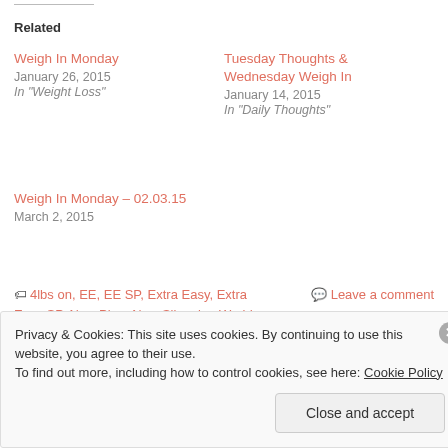Related
Weigh In Monday
January 26, 2015
In "Weight Loss"
Tuesday Thoughts & Wednesday Weigh In
January 14, 2015
In "Daily Thoughts"
Weigh In Monday – 02.03.15
March 2, 2015
4lbs on, EE, EE SP, Extra Easy, Extra Easy SP, New Plan, New Slimming World Plan, Slimming World
Leave a comment
Privacy & Cookies: This site uses cookies. By continuing to use this website, you agree to their use.
To find out more, including how to control cookies, see here: Cookie Policy
Close and accept